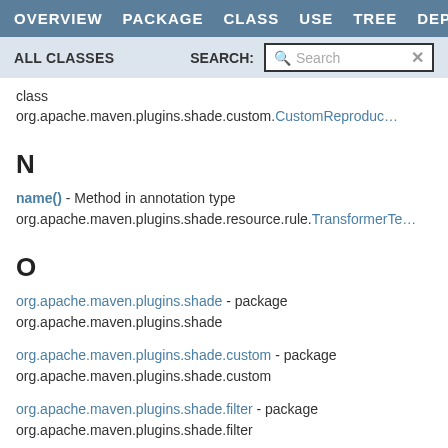OVERVIEW   PACKAGE   CLASS   USE   TREE   DEPRECATED
ALL CLASSES   SEARCH: [Search]
class org.apache.maven.plugins.shade.custom.CustomReproduc…
N
name() - Method in annotation type org.apache.maven.plugins.shade.resource.rule.TransformerTe…
O
org.apache.maven.plugins.shade - package org.apache.maven.plugins.shade
org.apache.maven.plugins.shade.custom - package org.apache.maven.plugins.shade.custom
org.apache.maven.plugins.shade.filter - package org.apache.maven.plugins.shade.filter